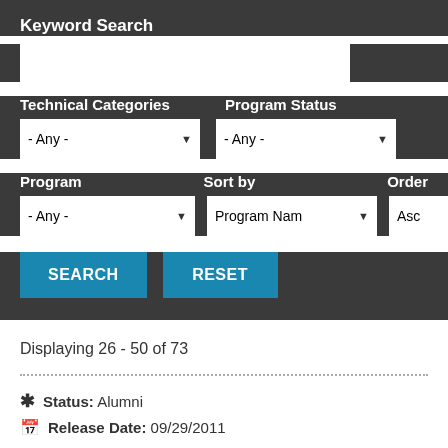Keyword Search
Technical Categories   Program Status
- Any - (Technical Categories dropdown)
- Any - (Program Status dropdown)
Program   Sort by   Order
- Any - (Program dropdown)   Program Nam▼ (Sort by dropdown)   Asc (Order dropdown)
SEARCH   RESET
Displaying 26 - 50 of 73
✱ Status: Alumni
📅 Release Date: 09/29/2011